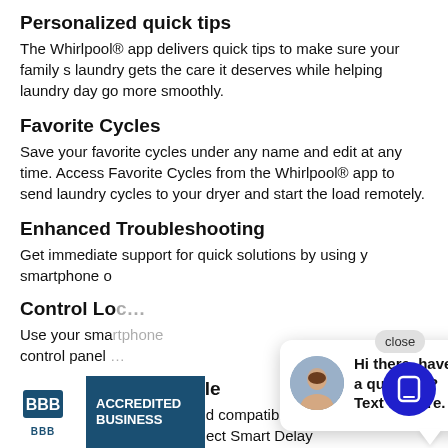Personalized quick tips
The Whirlpool® app delivers quick tips to make sure your family s laundry gets the care it deserves while helping laundry day go more smoothly.
Favorite Cycles
Save your favorite cycles under any name and edit at any time. Access Favorite Cycles from the Whirlpool® app to send laundry cycles to your dryer and start the load remotely.
Enhanced Troubleshooting
Get immediate support for quick solutions by using your smartphone o…
Control Loc…
Use your sma… control panel …
Smart grid compatible
This smart dryer is smart grid compatible to help yo… nergy costs. Select Smart Delay… o to avoid running a cycle during peak hours.
[Figure (other): Chat widget overlay with avatar photo of woman, text 'Hi there, have a question? Text us here.' and a close button]
[Figure (other): Blue circular button with phone/chat icon]
[Figure (other): BBB Accredited Business badge in blue with white BBB logo]